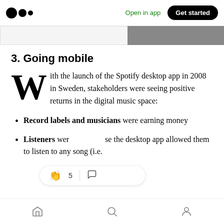Medium logo | Open in app | Get started
[Figure (photo): Partial image strip showing left white/gray area and right dark photographic content (person)]
3. Going mobile
With the launch of the Spotify desktop app in 2008 in Sweden, stakeholders were seeing positive returns in the digital music space:
Record labels and musicians were earning money
Listeners were able to use the desktop app allowed them to listen to any song (i.e.
Home | Search | Profile